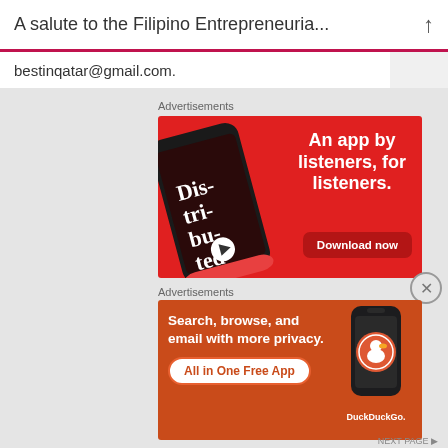A salute to the Filipino Entrepreneuria...
bestinqatar@gmail.com.
Advertisements
[Figure (illustration): Red advertisement banner for a podcast app showing a smartphone displaying 'Distributed' podcast app with text 'An app by listeners, for listeners.' and a 'Download now' button]
Advertisements
[Figure (illustration): Orange-red advertisement banner for DuckDuckGo app showing smartphone with DuckDuckGo logo, text 'Search, browse, and email with more privacy.' and 'All in One Free App' button]